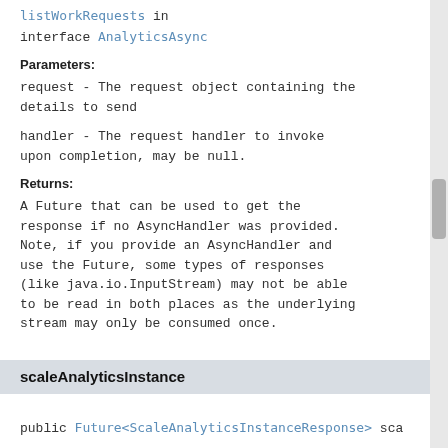listWorkRequests in interface AnalyticsAsync
Parameters:
request - The request object containing the details to send
handler - The request handler to invoke upon completion, may be null.
Returns:
A Future that can be used to get the response if no AsyncHandler was provided. Note, if you provide an AsyncHandler and use the Future, some types of responses (like java.io.InputStream) may not be able to be read in both places as the underlying stream may only be consumed once.
scaleAnalyticsInstance
public Future<ScaleAnalyticsInstanceResponse> sca